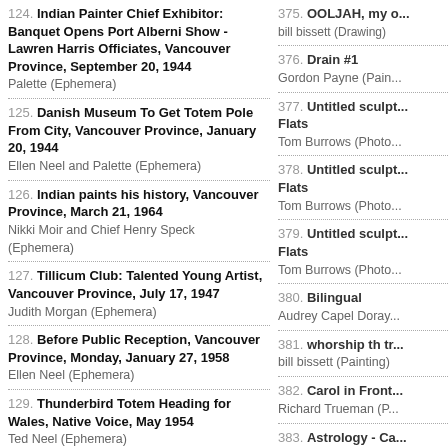124. Indian Painter Chief Exhibitor: Banquet Opens Port Alberni Show - Lawren Harris Officiates, Vancouver Province, September 20, 1944
Palette (Ephemera)
125. Danish Museum To Get Totem Pole From City, Vancouver Province, January 20, 1944
Ellen Neel and Palette (Ephemera)
126. Indian paints his history, Vancouver Province, March 21, 1964
Nikki Moir and Chief Henry Speck (Ephemera)
127. Tillicum Club: Talented Young Artist, Vancouver Province, July 17, 1947
Judith Morgan (Ephemera)
128. Before Public Reception, Vancouver Province, Monday, January 27, 1958
Ellen Neel (Ephemera)
129. Thunderbird Totem Heading for Wales, Native Voice, May 1954
Ted Neel (Ephemera)
130. Popular Jay Silverheels, Native Voice, December 1960
Jay Silverheels (Ephemera)
131. Haida Argillite Carver Robert Davidson, Native Voice, June 1954
375. OOLJAH, my o...
bill bissett (Drawing)
376. Drain #1
Gordon Payne (Pain...
377. Untitled sculpt... Flats
Tom Burrows (Photo...
378. Untitled sculpt... Flats
Tom Burrows (Photo...
379. Untitled sculpt... Flats
Tom Burrows (Photo...
380. Bilingual
Audrey Capel Doray...
381. whorship th tr...
bill bissett (Painting)
382. Carol in Front...
Richard Trueman (P...
383. Astrology - Ca...
Richard Trueman (P...
384. Richard in fro...